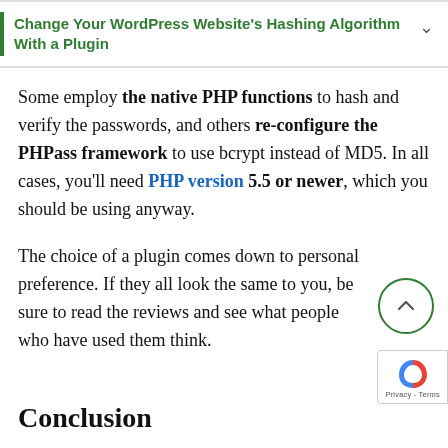Change Your WordPress Website's Hashing Algorithm With a Plugin
Some employ the native PHP functions to hash and verify the passwords, and others re-configure the PHPass framework to use bcrypt instead of MD5. In all cases, you'll need PHP version 5.5 or newer, which you should be using anyway.
The choice of a plugin comes down to personal preference. If they all look the same to you, be sure to read the reviews and see what people who have used them think.
Conclusion